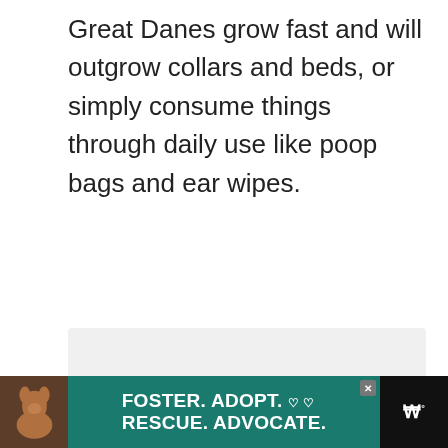Great Danes grow fast and will outgrow collars and beds, or simply consume things through daily use like poop bags and ear wipes.
[Figure (screenshot): A image area with a light gray background showing a slideable gallery with three dot indicators at the bottom. A dark navy heart button and a white share button are on the right side. A 'What's Next' card in the lower right shows a Great Dane dog thumbnail and text 'How To Take Care of a...']
[Figure (photo): Advertisement banner at the bottom: black background with a dog photo on the left, teal/green section reading 'FOSTER. ADOPT. RESCUE. ADVOCATE.' with heart icons and close button, and a dark logo on the right.]